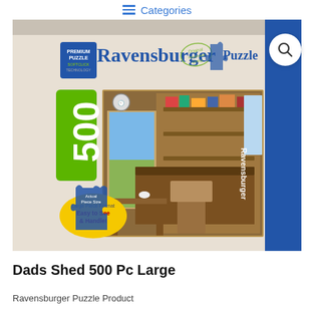Categories
[Figure (photo): Ravensburger 500 piece puzzle box titled 'Dad's Shed' showing interior of a garden shed with workbench, tools, shelves and garden items. Box shows 'Large Piece Format - Easy to See & Handle!' sticker.]
Dads Shed 500 Pc Large
Ravensburger Puzzle Product